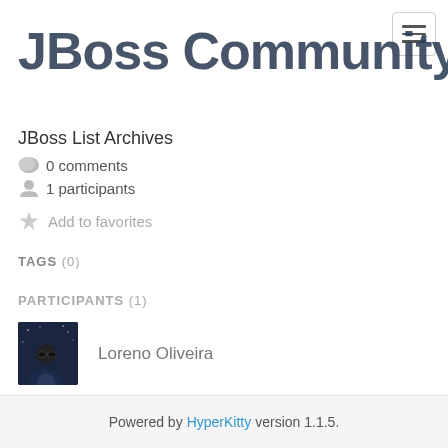JBoss Community
JBoss List Archives
0 comments
1 participants
Add to favorites
TAGS (0)
PARTICIPANTS (1)
Loreno Oliveira
Powered by HyperKitty version 1.1.5.